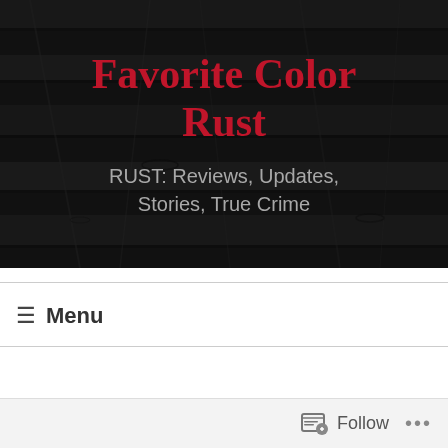[Figure (photo): Dark wood plank texture background with site title and subtitle overlay]
Favorite Color Rust
RUST: Reviews, Updates, Stories, True Crime
≡ Menu
Follow ...